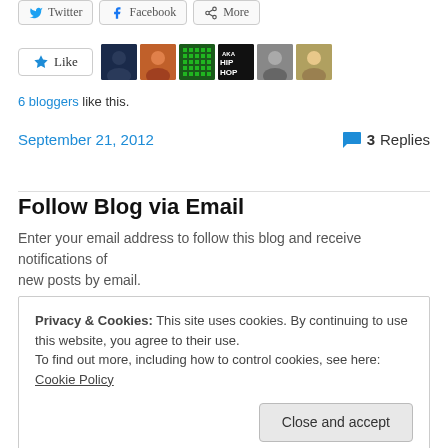[Figure (screenshot): Share buttons row: Twitter, Facebook, More]
[Figure (screenshot): Like button with 6 blogger avatars]
6 bloggers like this.
September 21, 2012    3 Replies
Follow Blog via Email
Enter your email address to follow this blog and receive notifications of new posts by email.
Privacy & Cookies: This site uses cookies. By continuing to use this website, you agree to their use. To find out more, including how to control cookies, see here: Cookie Policy
Close and accept